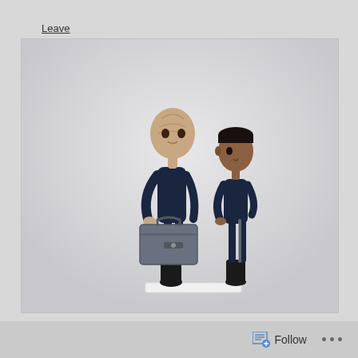Leave a reply
[Figure (photo): Two science fiction action figures facing each other. The taller figure on the left has a bald, wrinkled alien head and wears a dark navy bodysuit with a silver/metallic chest piece, and carries a grey briefcase/equipment case. The shorter figure on the right has dark hair and also wears a matching dark navy bodysuit with silver chest plate and black boots. Both figures appear to be characters from a sci-fi franchise.]
Follow
...